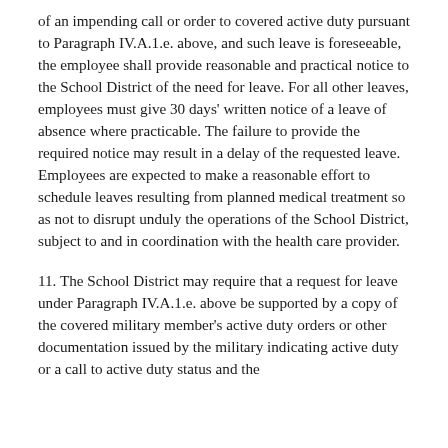of an impending call or order to covered active duty pursuant to Paragraph IV.A.1.e. above, and such leave is foreseeable, the employee shall provide reasonable and practical notice to the School District of the need for leave. For all other leaves, employees must give 30 days' written notice of a leave of absence where practicable. The failure to provide the required notice may result in a delay of the requested leave. Employees are expected to make a reasonable effort to schedule leaves resulting from planned medical treatment so as not to disrupt unduly the operations of the School District, subject to and in coordination with the health care provider.
11. The School District may require that a request for leave under Paragraph IV.A.1.e. above be supported by a copy of the covered military member's active duty orders or other documentation issued by the military indicating active duty or a call to active duty status and the